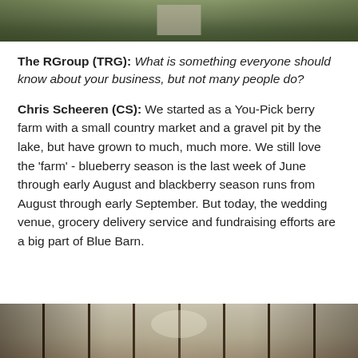[Figure (photo): Aerial view of farm property with gravel road and green fields]
The RGroup (TRG): What is something everyone should know about your business, but not many people do?
Chris Scheeren (CS): We started as a You-Pick berry farm with a small country market and a gravel pit by the lake, but have grown to much, much more. We still love the 'farm' - blueberry season is the last week of June through early August and blackberry season runs from August through early September. But today, the wedding venue, grocery delivery service and fundraising efforts are a big part of Blue Barn.
[Figure (photo): Interior view through large barn windows looking out to trees and landscape, wedding venue setting]